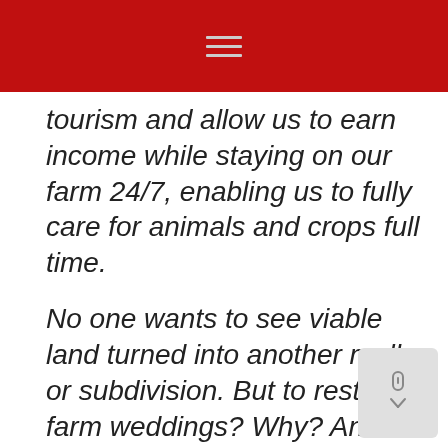tourism and allow us to earn income while staying on our farm 24/7, enabling us to fully care for animals and crops full time.
No one wants to see viable land turned into another mall or subdivision. But to restrict farm weddings? Why? And what’s next?
We pay regular income tax on the money